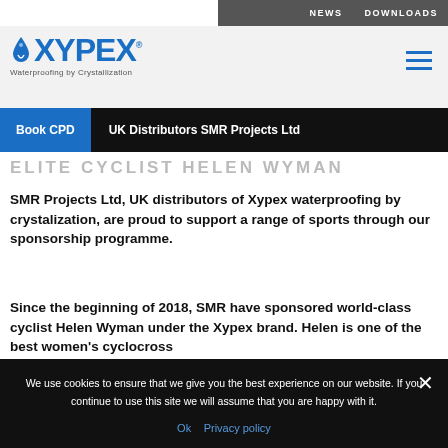NEWS   DOWNLOADS
[Figure (logo): Xypex logo with water drop icon and tagline 'Waterproofing by Crystallization']
Book CPD   UK Distributors SMR Projects Ltd
ELITE CYCLIST HELEN WYMAN
SMR Projects Ltd, UK distributors of Xypex waterproofing by crystalization, are proud to support a range of sports through our sponsorship programme.
Since the beginning of 2018, SMR have sponsored world-class cyclist Helen Wyman under the Xypex brand. Helen is one of the best women's cyclocross
We use cookies to ensure that we give you the best experience on our website. If you continue to use this site we will assume that you are happy with it.
Ok   Privacy policy